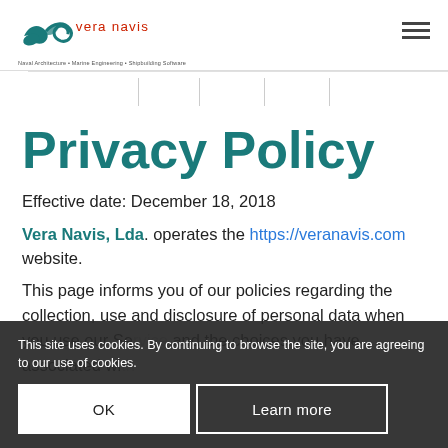Vera Navis, Lda — Naval Architecture • Marine Engineering • Shipbuilding Software
Privacy Policy
Effective date: December 18, 2018
Vera Navis, Lda. operates the https://veranavis.com website.
This site uses cookies. By continuing to browse the site, you are agreeing to our use of cookies.